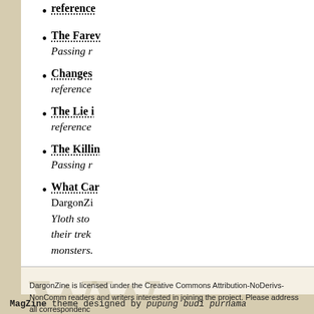The Farewell — Passing r...
Changes — reference...
The Lie i... — reference...
The Killin... — Passing r...
What Can... DargonZi... Yloth stop... their trek... monsters.
DargonZine is licensed under the Creative Commons Attribution-NoDerivs-NonComm... readers and writers interested in joining the project. Please address all correspondenc...
MagZine theme designed by pupung budi purnama